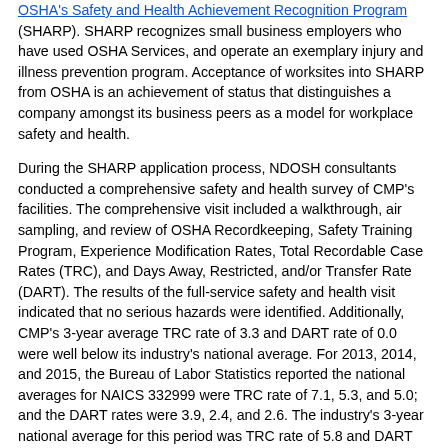OSHA's Safety and Health Achievement Recognition Program (SHARP). SHARP recognizes small business employers who have used OSHA Services, and operate an exemplary injury and illness prevention program. Acceptance of worksites into SHARP from OSHA is an achievement of status that distinguishes a company amongst its business peers as a model for workplace safety and health.
During the SHARP application process, NDOSH consultants conducted a comprehensive safety and health survey of CMP's facilities. The comprehensive visit included a walkthrough, air sampling, and review of OSHA Recordkeeping, Safety Training Program, Experience Modification Rates, Total Recordable Case Rates (TRC), and Days Away, Restricted, and/or Transfer Rate (DART). The results of the full-service safety and health visit indicated that no serious hazards were identified. Additionally, CMP's 3-year average TRC rate of 3.3 and DART rate of 0.0 were well below its industry's national average. For 2013, 2014, and 2015, the Bureau of Labor Statistics reported the national averages for NAICS 332999 were TRC rate of 7.1, 5.3, and 5.0; and the DART rates were 3.9, 2.4, and 2.6. The industry's 3-year national average for this period was TRC rate of 5.8 and DART rate of 3.0.
On November 18, 2008, CMP's hard work paid off when it became